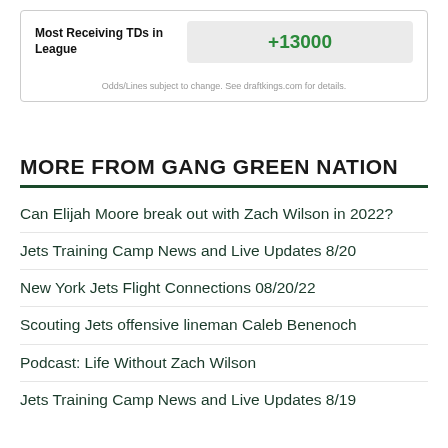| Most Receiving TDs in League | +13000 |
| --- | --- |
Odds/Lines subject to change. See draftkings.com for details.
MORE FROM GANG GREEN NATION
Can Elijah Moore break out with Zach Wilson in 2022?
Jets Training Camp News and Live Updates 8/20
New York Jets Flight Connections 08/20/22
Scouting Jets offensive lineman Caleb Benenoch
Podcast: Life Without Zach Wilson
Jets Training Camp News and Live Updates 8/19